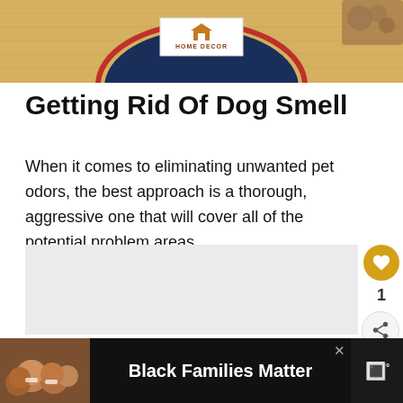[Figure (photo): Top banner with tan/golden carpet background, a blue arc shape with red border, and a HOME DECOR logo badge in the center. Partial view of hands in top right corner.]
Getting Rid Of Dog Smell
When it comes to eliminating unwanted pet odors, the best approach is a thorough, aggressive one that will cover all of the potential problem areas.
[Figure (other): Gray placeholder content area with like button (heart icon, golden circle), like count of 1, and share button below.]
[Figure (other): WHAT'S NEXT panel showing a thumbnail of a room interior and text 'How To Get A Cigarette...']
[Figure (other): Bottom advertisement bar with dark background, photo of people smiling, text 'Black Families Matter', close X button, and brand logo on right.]